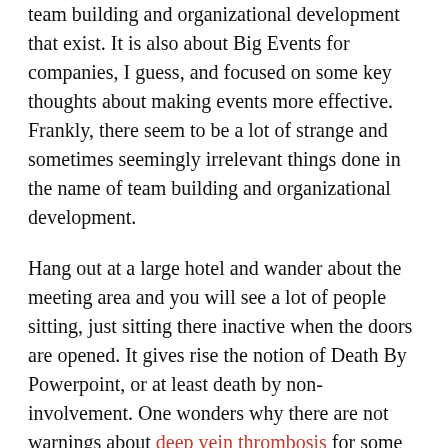team building and organizational development that exist. It is also about Big Events for companies, I guess, and focused on some key thoughts about making events more effective. Frankly, there seem to be a lot of strange and sometimes seemingly irrelevant things done in the name of team building and organizational development.
Hang out at a large hotel and wander about the meeting area and you will see a lot of people sitting, just sitting there inactive when the doors are opened. It gives rise the notion of Death By Powerpoint, or at least death by non-involvement. One wonders why there are not warnings about deep vein thrombosis for some of these sessions!